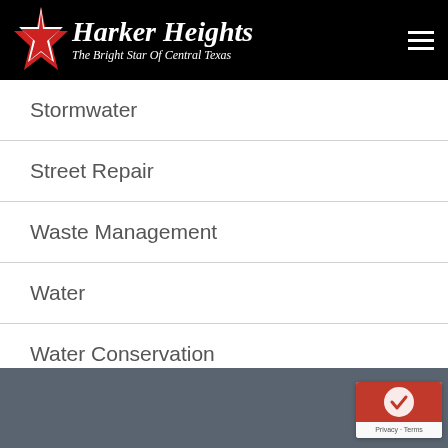Harker Heights — The Bright Star Of Central Texas
Stormwater
Street Repair
Waste Management
Water
Water Conservation
Waste Water
Privacy · Terms